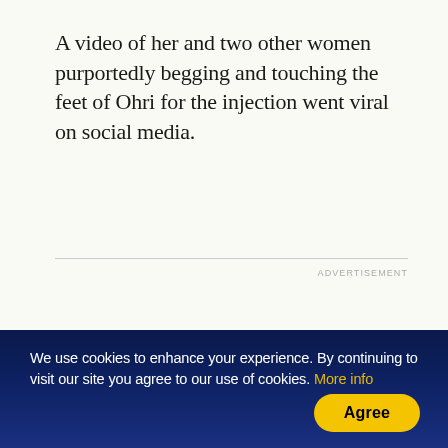A video of her and two other women purportedly begging and touching the feet of Ohri for the injection went viral on social media.
ADVERTISEMENT
We use cookies to enhance your experience. By continuing to visit our site you agree to our use of cookies. More info